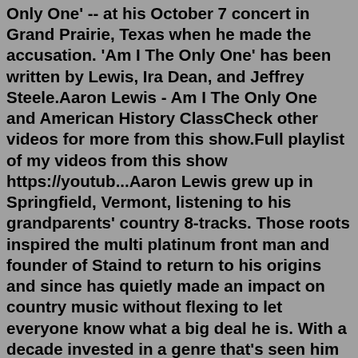Only One' -- at his October 7 concert in Grand Prairie, Texas when he made the accusation. 'Am I The Only One' has been written by Lewis, Ira Dean, and Jeffrey Steele.Aaron Lewis - Am I The Only One and American History ClassCheck other videos for more from this show.Full playlist of my videos from this show https://youtub...Aaron Lewis grew up in Springfield, Vermont, listening to his grandparents' country 8-tracks. Those roots inspired the multi platinum front man and founder of Staind to return to his origins and since has quietly made an impact on country music without flexing to let everyone know what a big deal he is. With a decade invested in a genre that's seen him record with George Jones, Charlie ... At the heart of Staind's loud, angst-laden music are the confessional lyrics and introspective personality of frontman Aaron Lewis. While other post-grunge bands were successful in mining the dark caverns once explored by Soundgarden and Alice in Chains, Lewis allowed his sensitivity to pour freely from his words and often pensive vocals, enabling